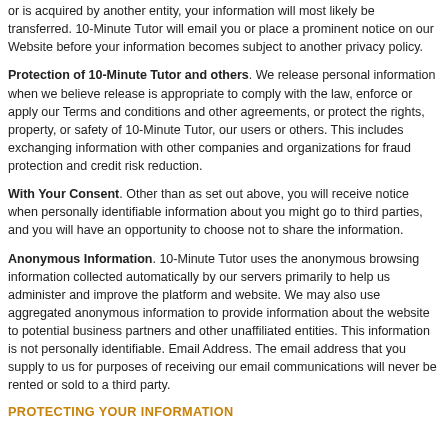or is acquired by another entity, your information will most likely be transferred. 10-Minute Tutor will email you or place a prominent notice on our Website before your information becomes subject to another privacy policy.
Protection of 10-Minute Tutor and others. We release personal information when we believe release is appropriate to comply with the law, enforce or apply our Terms and conditions and other agreements, or protect the rights, property, or safety of 10-Minute Tutor, our users or others. This includes exchanging information with other companies and organizations for fraud protection and credit risk reduction.
With Your Consent. Other than as set out above, you will receive notice when personally identifiable information about you might go to third parties, and you will have an opportunity to choose not to share the information.
Anonymous Information. 10-Minute Tutor uses the anonymous browsing information collected automatically by our servers primarily to help us administer and improve the platform and website. We may also use aggregated anonymous information to provide information about the website to potential business partners and other unaffiliated entities. This information is not personally identifiable. Email Address. The email address that you supply to us for purposes of receiving our email communications will never be rented or sold to a third party.
PROTECTING YOUR INFORMATION